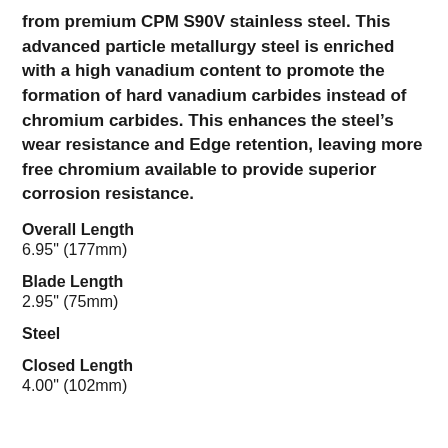from premium CPM S90V stainless steel. This advanced particle metallurgy steel is enriched with a high vanadium content to promote the formation of hard vanadium carbides instead of chromium carbides. This enhances the steel’s wear resistance and Edge retention, leaving more free chromium available to provide superior corrosion resistance.
Overall Length
6.95" (177mm)
Blade Length
2.95" (75mm)
Steel
Closed Length
4.00" (102mm)